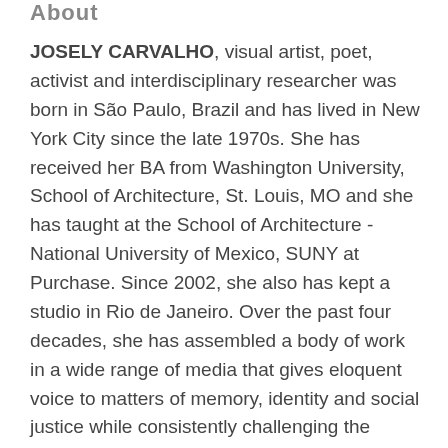About
JOSELY CARVALHO, visual artist, poet, activist and interdisciplinary researcher was born in São Paulo, Brazil and has lived in New York City since the late 1970s. She has received her BA from Washington University, School of Architecture, St. Louis, MO and she has taught at the School of Architecture - National University of Mexico, SUNY at Purchase. Since 2002, she also has kept a studio in Rio de Janeiro. Over the past four decades, she has assembled a body of work in a wide range of media that gives eloquent voice to matters of memory, identity and social justice while consistently challenging the boundaries between artist and audience, and between politics and art.